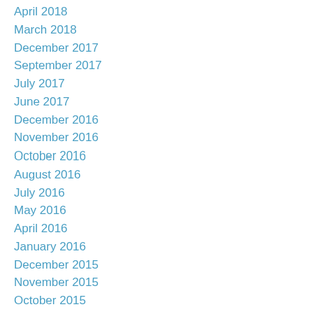April 2018
March 2018
December 2017
September 2017
July 2017
June 2017
December 2016
November 2016
October 2016
August 2016
July 2016
May 2016
April 2016
January 2016
December 2015
November 2015
October 2015
September 2015
August 2015
July 2015
June 2015